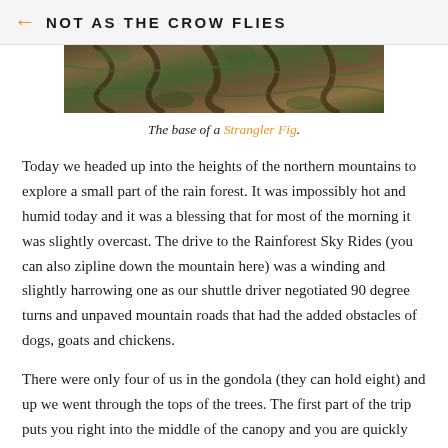NOT AS THE CROW FLIES
[Figure (photo): The base of a Strangler Fig tree — twisted, gnarled roots and vines in a rainforest setting]
The base of a Strangler Fig.
Today we headed up into the heights of the northern mountains to explore a small part of the rain forest. It was impossibly hot and humid today and it was a blessing that for most of the morning it was slightly overcast. The drive to the Rainforest Sky Rides (you can also zipline down the mountain here) was a winding and slightly harrowing one as our shuttle driver negotiated 90 degree turns and unpaved mountain roads that had the added obstacles of dogs, goats and chickens.
There were only four of us in the gondola (they can hold eight) and up we went through the tops of the trees. The first part of the trip puts you right into the middle of the canopy and you are quickly surrounded by lush vegetation